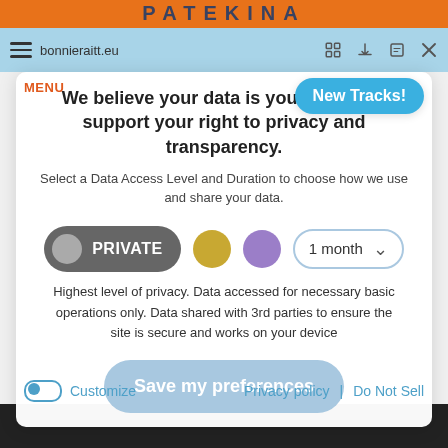[Figure (screenshot): Top orange decorative banner with stylized blue text]
bonnieraitt.eu
MENU
[Figure (other): New Tracks! button in blue rounded rectangle]
We believe your data is your right and support your right to privacy and transparency.
Select a Data Access Level and Duration to choose how we use and share your data.
[Figure (other): Privacy level selector showing PRIVATE button (dark grey toggle), gold circle, purple circle, and 1 month dropdown]
Highest level of privacy. Data accessed for necessary basic operations only. Data shared with 3rd parties to ensure the site is secure and works on your device
Save my preferences
Customize
Privacy policy | Do Not Sell